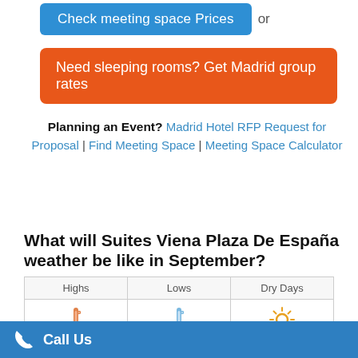[Figure (screenshot): Blue button labeled 'Check meeting space Prices' with 'or' text to its right]
[Figure (screenshot): Orange button labeled 'Need sleeping rooms? Get Madrid group rates']
Planning an Event? Madrid Hotel RFP Request for Proposal | Find Meeting Space | Meeting Space Calculator
What will Suites Viena Plaza De España weather be like in September?
| Highs | Lows | Dry Days |
| --- | --- | --- |
| 85° F / 29° C | 60° F / 15° C | 23 |
Call Us